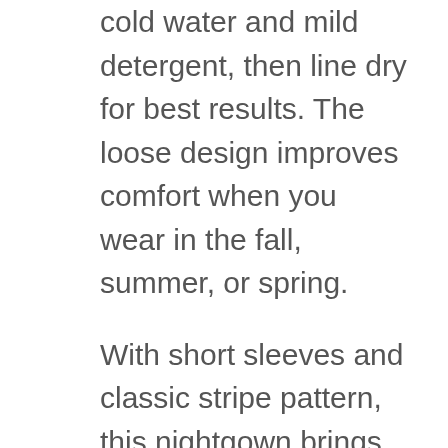cold water and mild detergent, then line dry for best results. The loose design improves comfort when you wear in the fall, summer, or spring.
With short sleeves and classic stripe pattern, this nightgown brings out a contemporary look in your house. You can walk around in the bedroom, living room, or TV area with maximum comfort. Additional features include two large pockets for style and functionality. Slide in your smartphone or tissue when going or getting out of bed. Plus, a